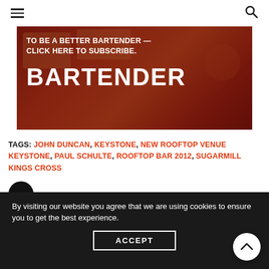≡   [search icon]
[Figure (photo): Promotional banner with red food/drinks background and text: TO BE A BETTER BARTENDER — CLICK HERE TO SUBSCRIBE. BARTENDER]
TAGS: JOHN DUNCAN, KEYSTONE, NEW ROOFTOP VENUE KEYSTONE, PAUL SCHULTE, ROOFTOP BAR 2012, SUGARMILL KINGS CROSS
[Figure (illustration): Dark circular chat bubble icon with three dots]
NO COMMENTS YET
By visiting our website you agree that we are using cookies to ensure you to get the best experience.
ACCEPT